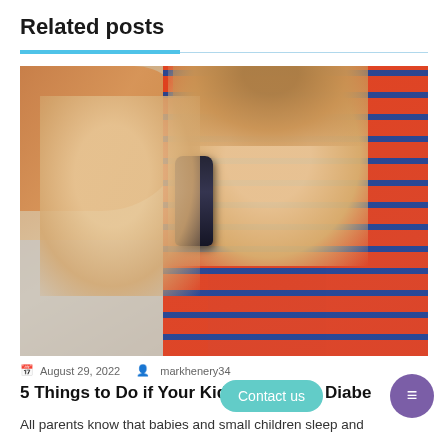Related posts
[Figure (photo): A smiling woman and a boy in an orange and blue striped shirt looking at a blood glucose meter device together]
August 29, 2022  markhenery34
5 Things to Do if Your Kid Has Type 1 Diabetes
All parents know that babies and small children sleep and